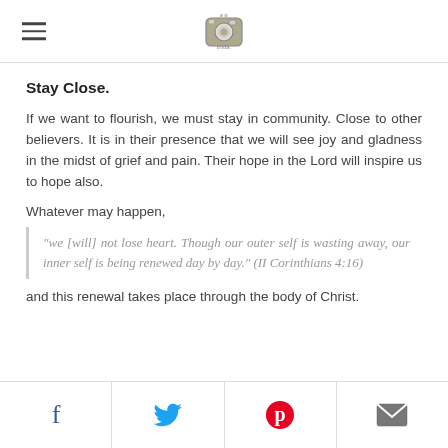[hamburger menu] [Instagram logo]
Stay Close.
If we want to flourish, we must stay in community. Close to other believers. It is in their presence that we will see joy and gladness in the midst of grief and pain. Their hope in the Lord will inspire us to hope also.
Whatever may happen,
"we [will] not lose heart. Though our outer self is wasting away, our inner self is being renewed day by day." (II Corinthians 4:16)
and this renewal takes place through the body of Christ.
[Facebook] [Twitter] [Pinterest] [Email]